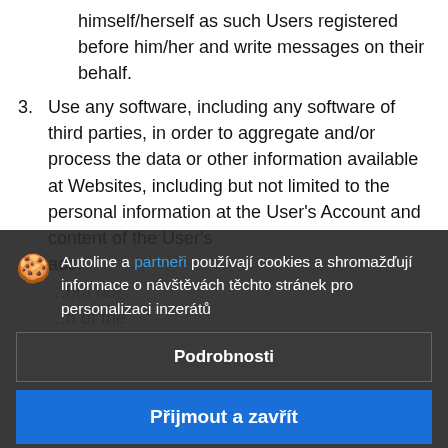himself/herself as such Users registered before him/her and write messages on their behalf.
3. Use any software, including any software of third parties, in order to aggregate and/or process the data or other information available at Websites, including but not limited to the personal information at the User's Account and content of the User's ads.
Autoline a partneři používají cookies a shromažďují informace o návštěvách těchto stránek pro personalizaci inzerátů
Podrobnosti
Přijmout a zavřít
9. Other Users access User's personal data subject to his/her written consent or pursuant to
10. The Operator shall take every effort to ensure proper performance of its obligations hereunder